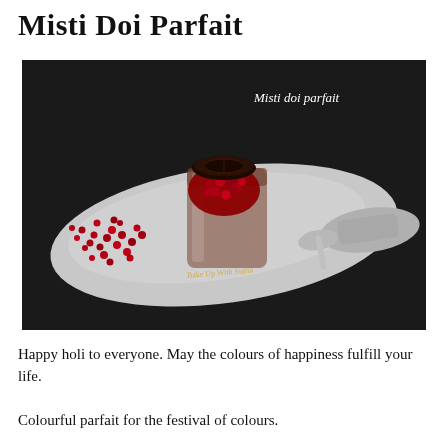Misti Doi Parfait
[Figure (photo): A glass cup filled with pomegranate seeds and topped with a dark chocolate cookie, placed on a silver leaf-shaped tray. Pomegranate seeds are scattered around on the tray. White text overlay reads 'Misti doi parfait'.]
Happy holi to everyone. May the colours of happiness fulfill your life.
Colourful parfait for the festival of colours.